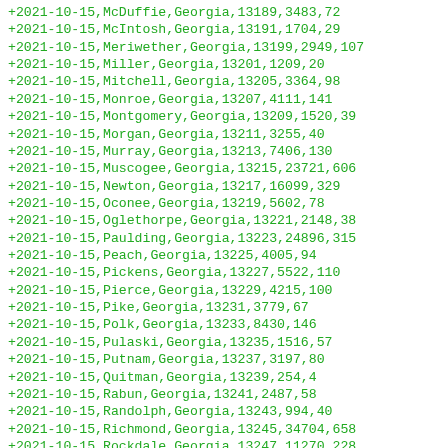+2021-10-15,McDuffie,Georgia,13189,3483,72
+2021-10-15,McIntosh,Georgia,13191,1704,29
+2021-10-15,Meriwether,Georgia,13199,2949,107
+2021-10-15,Miller,Georgia,13201,1209,20
+2021-10-15,Mitchell,Georgia,13205,3364,98
+2021-10-15,Monroe,Georgia,13207,4111,141
+2021-10-15,Montgomery,Georgia,13209,1520,39
+2021-10-15,Morgan,Georgia,13211,3255,40
+2021-10-15,Murray,Georgia,13213,7406,130
+2021-10-15,Muscogee,Georgia,13215,23721,606
+2021-10-15,Newton,Georgia,13217,16099,329
+2021-10-15,Oconee,Georgia,13219,5602,78
+2021-10-15,Oglethorpe,Georgia,13221,2148,38
+2021-10-15,Paulding,Georgia,13223,24896,315
+2021-10-15,Peach,Georgia,13225,4005,94
+2021-10-15,Pickens,Georgia,13227,5522,110
+2021-10-15,Pierce,Georgia,13229,4215,100
+2021-10-15,Pike,Georgia,13231,3779,67
+2021-10-15,Polk,Georgia,13233,8430,146
+2021-10-15,Pulaski,Georgia,13235,1516,57
+2021-10-15,Putnam,Georgia,13237,3197,80
+2021-10-15,Quitman,Georgia,13239,254,4
+2021-10-15,Rabun,Georgia,13241,2487,58
+2021-10-15,Randolph,Georgia,13243,994,40
+2021-10-15,Richmond,Georgia,13245,34704,658
+2021-10-15,Rockdale,Georgia,13247,11270,228
+2021-10-15,Schley,Georgia,13249,638,7
+2021-10-15,Screven,Georgia,13251,1792,57
+2021-10-15,Seminole,Georgia,13253,1512,24
+2021-10-15,Spalding,Georgia,13255,10209,281
+2021-10-15,Stephens,Georgia,13257,4724,102
+2021-10-15,Stewart,Georgia,13259,1511,28